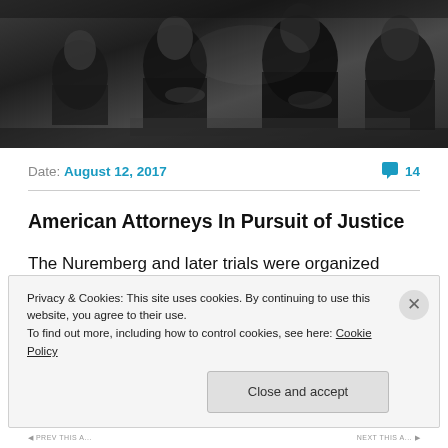[Figure (photo): Black and white photograph of several men in suits seated, appearing to be at a formal proceeding or tribunal, viewed from the side.]
Date: August 12, 2017    💬 14
American Attorneys In Pursuit of Justice
The Nuremberg and later trials were organized primarily for political purposes rather than to dispense impartial justice. This article will discuss the efforts of three American attorneys to expose and correct the
Privacy & Cookies: This site uses cookies. By continuing to use this website, you agree to their use.
To find out more, including how to control cookies, see here: Cookie Policy
Close and accept